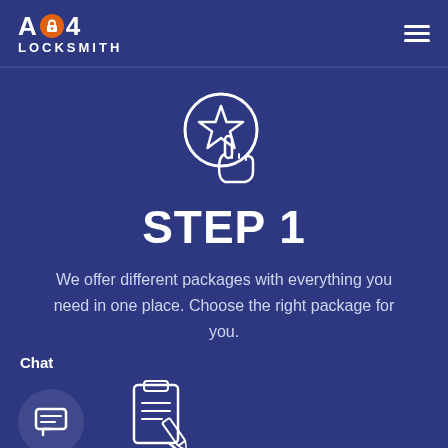AD4 LOCKSMITH
[Figure (illustration): White outline icon of a hand pointing at a star inside a circle, on dark blue background]
STEP 1
We offer different packages with everything you need in one place. Choose the right package for you.
Chat
[Figure (illustration): Two icons: a speech bubble chat icon on the left, and a clipboard/checklist with pencil icon in the center-right]